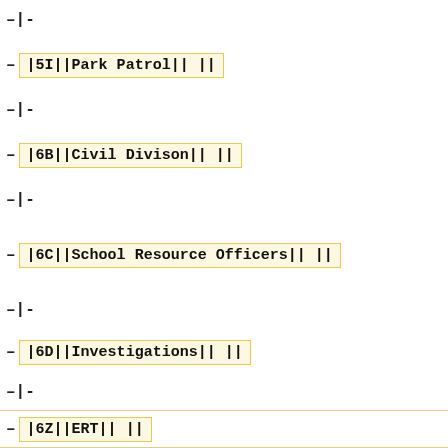–|-
–|5I||Park Patrol|| ||
–|-
–|6B||Civil Divison|| ||
–|-
|6C||School Resource Officers|| ||
–|-
–|6D||Investigations|| ||
–|-
–|6Z||ERT|| ||
–|-
–|7B||Jail|| ||